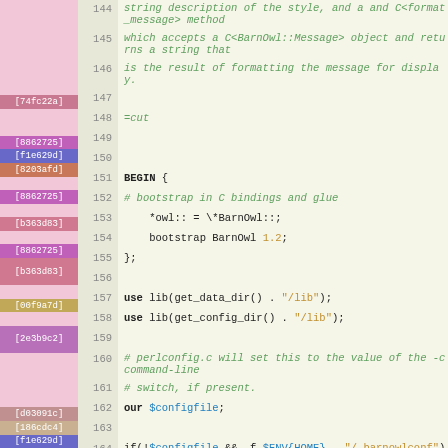Source code diff view with line numbers 144-170, showing Perl code for BarnOwl configuration
| commit | line | code |
| --- | --- | --- |
|  | 144 | string description of the style, and a and C<format_message> method |
|  | 145 | which accepts a C<BarnOwl::Message> object and returns a string that |
|  | 146 | is the result of formatting the message for display. |
|  | 147 |  |
| [74fc22a] | 148 | =cut |
|  | 149 |  |
|  | 150 |  |
| [8862725] | 151 | BEGIN { |
| [f1e629d] | 152 | # bootstrap in C bindings and glue |
| [8203afd] | 153 |     *owl:: = \*BarnOwl::; |
|  | 154 |     bootstrap BarnOwl 1.2; |
| [8862725] | 155 | }; |
|  | 156 |  |
| [b363d83] | 157 | use lib(get_data_dir() . "/lib"); |
|  | 158 | use lib(get_config_dir() . "/lib"); |
| [8862725] | 159 |  |
| [b363d83] | 160 | # perlconfig.c will set this to the value of the -c command-line |
|  | 161 | # switch, if present. |
| [00f9a7d] | 162 | our $configfile; |
|  | 163 |  |
| [2e3b9c2] | 164 | if(!$configfile && -f $ENV{HOME} . "/.barnowlconf") { |
|  | 165 |  |
|  | 165b |     $configfile = $ENV{HOME} . "/.barnowlconf"; |
|  | 166 | } |
|  | 167 | $configfile ||= $ENV{HOME}."/. owlconf"; |
| [d03091c] | 168 |  |
| [186cdc4] | 169 | # populate global variable space for legacy owlconf files |
| [f1e629d] | 170 | sub _receive_msg_legacy_wrap { |